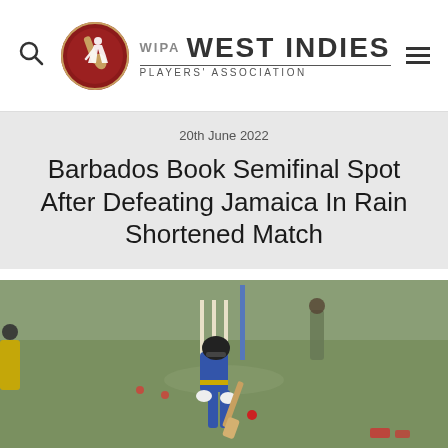West Indies Players' Association
20th June 2022
Barbados Book Semifinal Spot After Defeating Jamaica In Rain Shortened Match
[Figure (photo): A cricket batsman wearing a blue and yellow uniform and helmet walks on a pitch holding a cricket bat, with stumps and other players visible in the background on a grass field.]